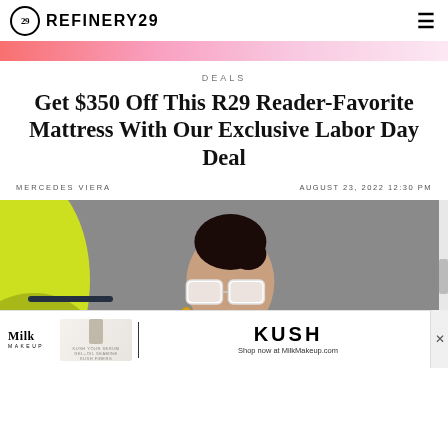REFINERY29
DEALS
Get $350 Off This R29 Reader-Favorite Mattress With Our Exclusive Labor Day Deal
MERCEDES VIERA
AUGUST 23, 2022 12:30 PM
[Figure (photo): Woman wearing white square sunglasses with yellow-green and gray abstract background with dark navy geometric lines]
[Figure (other): Milk Makeup advertisement banner featuring KUSH mascara product and text 'Shop now at MilkMakeup.com']